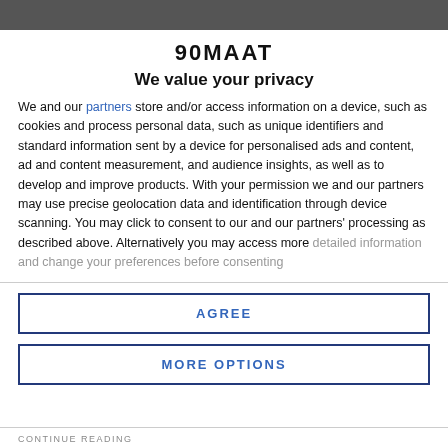[Figure (photo): Partial photo of a person or scene, cropped at top]
90MAAT
We value your privacy
We and our partners store and/or access information on a device, such as cookies and process personal data, such as unique identifiers and standard information sent by a device for personalised ads and content, ad and content measurement, and audience insights, as well as to develop and improve products. With your permission we and our partners may use precise geolocation data and identification through device scanning. You may click to consent to our and our partners' processing as described above. Alternatively you may access more detailed information and change your preferences before consenting
AGREE
MORE OPTIONS
CONTINUE READING